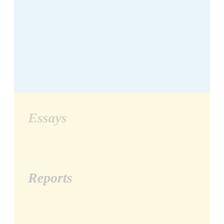[Figure (other): Light blue background section at the top of the page]
Essays
Reports